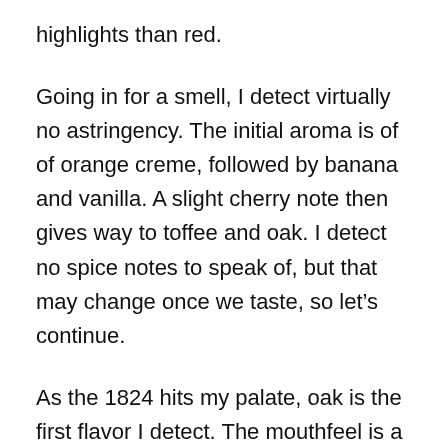highlights than red.
Going in for a smell, I detect virtually no astringency. The initial aroma is of of orange creme, followed by banana and vanilla. A slight cherry note then gives way to toffee and oak. I detect no spice notes to speak of, but that may change once we taste, so let's continue.
As the 1824 hits my palate, oak is the first flavor I detect. The mouthfeel is a bit thinner than I expected given the viscosity demonstrated in the snifter. A second sip provides another dose of oak followed by spice notes reminiscent of allspice and pepper. There is also a dusty component here. The taste belies the aromas of fruit creme pies, and I'm now feeling like I've been the victim of a bait and switch. More investigation is necessary. The sweetness is moderate, and now on the third pass I can